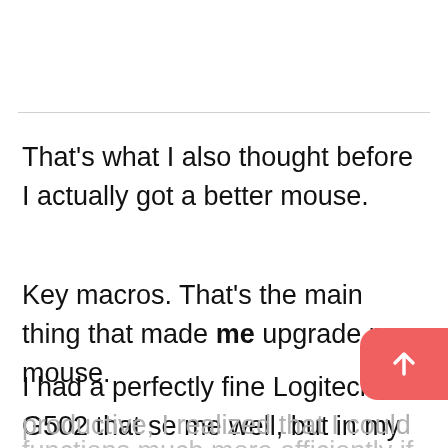That’s what I also thought before I actually got a better mouse.
Key macros. That’s the main thing that made me upgrade my mouse.
I had a perfectly fine Logitech G502 that se me well, but in my never-ending quest to find the most efficient way to work and be
productive, I realized that I could be doing some
functions much more efficiently if I could hi...